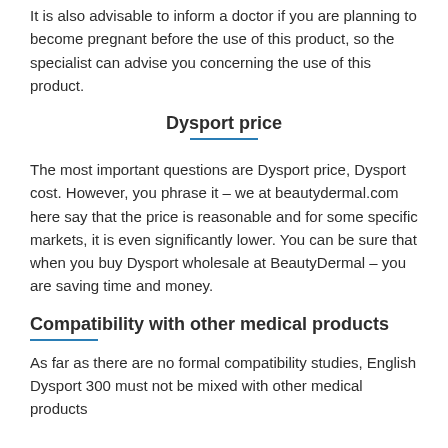It is also advisable to inform a doctor if you are planning to become pregnant before the use of this product, so the specialist can advise you concerning the use of this product.
Dysport price
The most important questions are Dysport price, Dysport cost. However, you phrase it – we at beautydermal.com here say that the price is reasonable and for some specific markets, it is even significantly lower. You can be sure that when you buy Dysport wholesale at BeautyDermal – you are saving time and money.
Compatibility with other medical products
As far as there are no formal compatibility studies, English Dysport 300 must not be mixed with other medical products